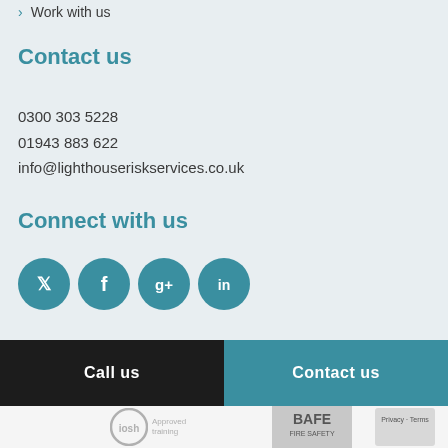Work with us
Contact us
0300 303 5228
01943 883 622
info@lighthouseriskservices.co.uk
Connect with us
[Figure (illustration): Social media icons: Twitter, Facebook, Google+, LinkedIn — teal circles with white logos]
Call us | Contact us
[Figure (logo): IOSH Approved training logo, BAFE Fire Safety logo, Privacy-Terms logo]